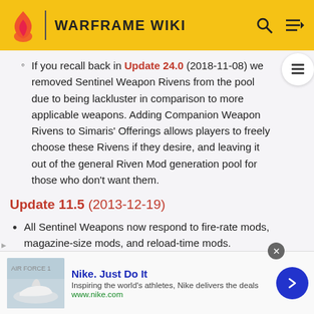WARFRAME WIKI
If you recall back in Update 24.0 (2018-11-08) we removed Sentinel Weapon Rivens from the pool due to being lackluster in comparison to more applicable weapons. Adding Companion Weapon Rivens to Simaris' Offerings allows players to freely choose these Rivens if they desire, and leaving it out of the general Riven Mod generation pool for those who don't want them.
Update 11.5 (2013-12-19)
All Sentinel Weapons now respond to fire-rate mods, magazine-size mods, and reload-time mods.
Nike. Just Do It — Inspiring the world's athletes, Nike delivers the deals — www.nike.com